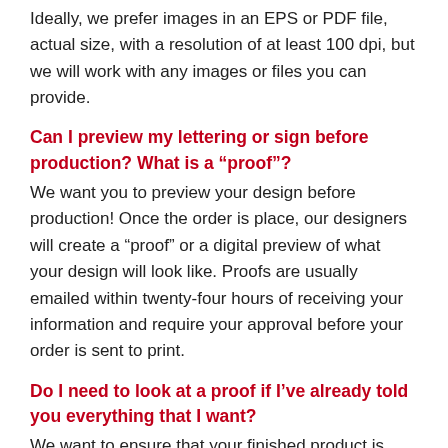Ideally, we prefer images in an EPS or PDF file, actual size, with a resolution of at least 100 dpi, but we will work with any images or files you can provide.
Can I preview my lettering or sign before production? What is a “proof”?
We want you to preview your design before production! Once the order is place, our designers will create a “proof” or a digital preview of what your design will look like. Proofs are usually emailed within twenty-four hours of receiving your information and require your approval before your order is sent to print.
Do I need to look at a proof if I’ve already told you everything that I want?
We want to ensure that your finished product is exactly what you envision. A proof allows us to show